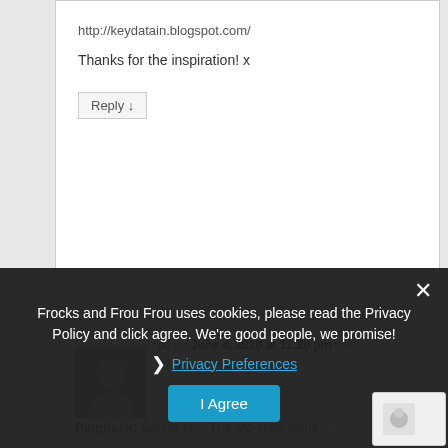http://keydatain.blogspot.com/
Thanks for the inspiration! x
Reply ↓
[Figure (illustration): User avatar placeholder with grey silhouette of a person]
oc on June 4, 2010 at 11:20 pm said:
Reply ↓
Pingback: Søring in… The Mostwe·some…
Frocks and Frou Frou uses cookies, please read the Privacy Policy and click agree. We're good people, we promise!
❯ Privacy Preferences
I Agree